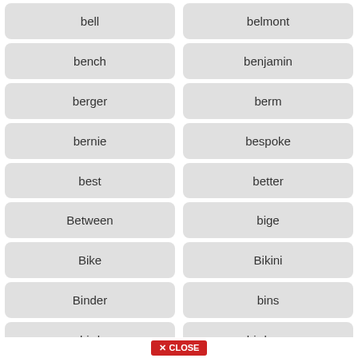bell
belmont
bench
benjamin
berger
berm
bernie
bespoke
best
better
Between
bige
Bike
Bikini
Binder
bins
bird
birdcam
CLOSE